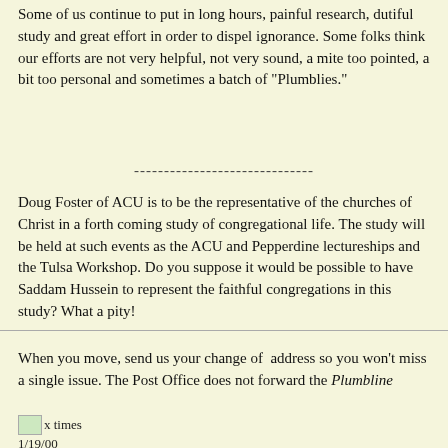Some of us continue to put in long hours, painful research, dutiful study and great effort in order to dispel ignorance. Some folks think our efforts are not very helpful, not very sound, a mite too pointed, a bit too personal and sometimes a batch of "Plumblies."
------------------------------
Doug Foster of ACU is to be the representative of the churches of Christ in a forth coming study of congregational life. The study will be held at such events as the ACU and Pepperdine lectureships and the Tulsa Workshop. Do you suppose it would be possible to have Saddam Hussein to represent the faithful congregations in this study? What a pity!
When you move, send us your change of  address so you won't miss a single issue. The Post Office does not forward the Plumbline
[Figure (other): Small image placeholder icon followed by text 'x times' and date '1/19/00']